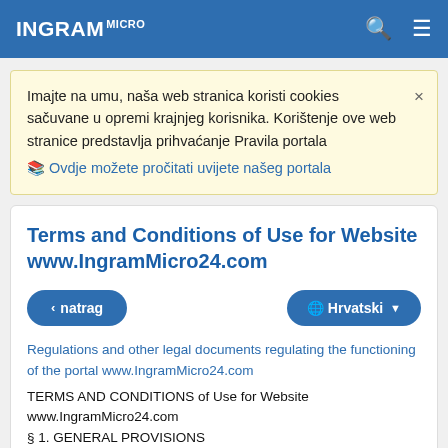INGRAM MICRO
Imajte na umu, naša web stranica koristi cookies sačuvane u opremi krajnjeg korisnika. Korištenje ove web stranice predstavlja prihvaćanje Pravila portala
📖 Ovdje možete pročitati uvijete našeg portala
Terms and Conditions of Use for Website www.IngramMicro24.com
< natrag   🌐 Hrvatski ▾
Regulations and other legal documents regulating the functioning of the portal www.IngramMicro24.com
TERMS AND CONDITIONS of Use for Website www.IngramMicro24.com
§ 1. GENERAL PROVISIONS